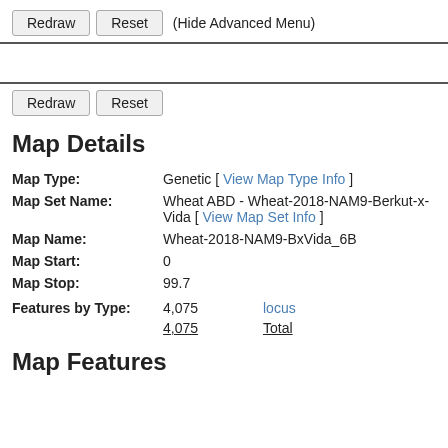Redraw  Reset  (Hide Advanced Menu)
Redraw  Reset
Map Details
| Map Type: | Genetic [ View Map Type Info ] |
| Map Set Name: | Wheat ABD - Wheat-2018-NAM9-Berkut-x-Vida [ View Map Set Info ] |
| Map Name: | Wheat-2018-NAM9-BxVida_6B |
| Map Start: | 0 |
| Map Stop: | 99.7 |
| Features by Type: | 4,075  locus
4,075  Total |
Map Features